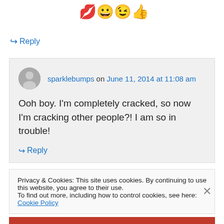[Figure (illustration): Four emoji icons: red lips, grinning face, winking face, thumbs up]
↪ Reply
sparklebumps on June 11, 2014 at 11:08 am
Ooh boy. I'm completely cracked, so now I'm cracking other people?! I am so in trouble!
↪ Reply
Privacy & Cookies: This site uses cookies. By continuing to use this website, you agree to their use.
To find out more, including how to control cookies, see here: Cookie Policy